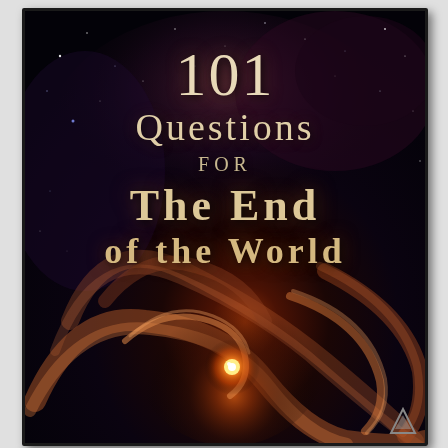[Figure (illustration): Book cover for '101 Questions for the End of the World'. Dark cosmic background featuring a swirling nebula/black hole with an orange glowing star at center, surrounded by dust rings and starfield. Title text overlaid in serif font.]
101 Questions for The End of the World